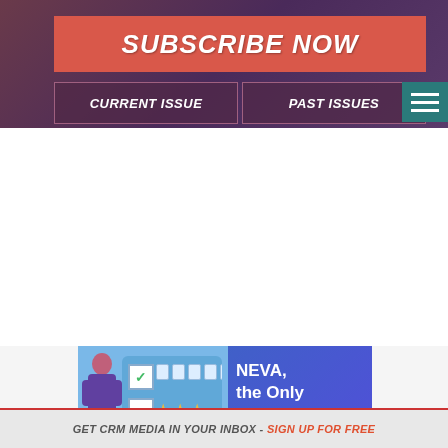[Figure (screenshot): Top banner with dark purple/maroon gradient background showing a Subscribe Now button in salmon/coral red color with italic bold white text, and two navigation buttons labeled CURRENT ISSUE and PAST ISSUES with purple borders, plus a teal hamburger menu icon on the right]
[Figure (illustration): Advertisement banner with blue/purple gradient background showing a cartoon woman in purple holding a checklist with robot icons and stars, alongside text reading NEVA, the Only Attended]
GET CRM MEDIA IN YOUR INBOX - SIGN UP FOR FREE